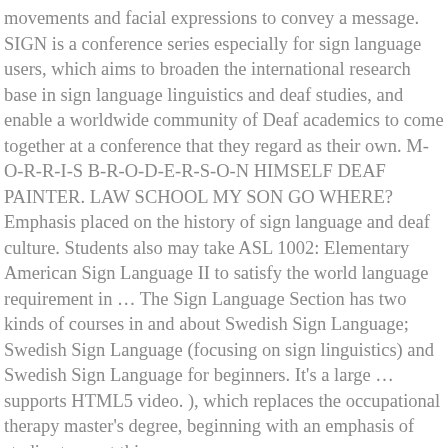movements and facial expressions to convey a message. SIGN is a conference series especially for sign language users, which aims to broaden the international research base in sign language linguistics and deaf studies, and enable a worldwide community of Deaf academics to come together at a conference that they regard as their own. M-O-R-R-I-S B-R-O-D-E-R-S-O-N HIMSELF DEAF PAINTER. LAW SCHOOL MY SON GO WHERE? Emphasis placed on the history of sign language and deaf culture. Students also may take ASL 1002: Elementary American Sign Language II to satisfy the world language requirement in … The Sign Language Section has two kinds of courses in and about Swedish Sign Language; Swedish Sign Language (focusing on sign linguistics) and Swedish Sign Language for beginners. It's a large … supports HTML5 video. ), which replaces the occupational therapy master's degree, beginning with an emphasis of studies to meet this